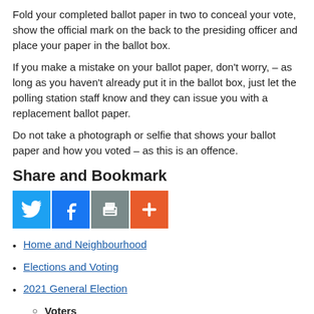Fold your completed ballot paper in two to conceal your vote, show the official mark on the back to the presiding officer and place your paper in the ballot box.
If you make a mistake on your ballot paper, don't worry, – as long as you haven't already put it in the ballot box, just let the polling station staff know and they can issue you with a replacement ballot paper.
Do not take a photograph or selfie that shows your ballot paper and how you voted – as this is an offence.
Share and Bookmark
[Figure (infographic): Four social sharing icon buttons in a row: Twitter (blue bird), Facebook (blue f), Print (grey printer), More/AddThis (orange plus sign)]
Home and Neighbourhood
Elections and Voting
2021 General Election
Voters